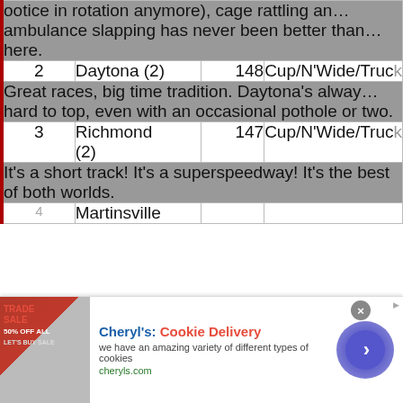ootice in rotation anymore), cage rattling an... ambulance slapping has never been better than... here.
| # | Track | Pts | Series |
| --- | --- | --- | --- |
| 2 | Daytona (2) | 148 | Cup/N'Wide/Truck |
|  | Great races, big time tradition. Daytona's always hard to top, even with an occasional pothole or two. |  |  |
| 3 | Richmond (2) | 147 | Cup/N'Wide/Truck |
|  | It's a short track! It's a superspeedway! It's the best of both worlds. |  |  |
|  | Martinsville |  |  |
Cheryl's: Cookie Delivery — we have an amazing variety of different types of cookies — cheryls.com